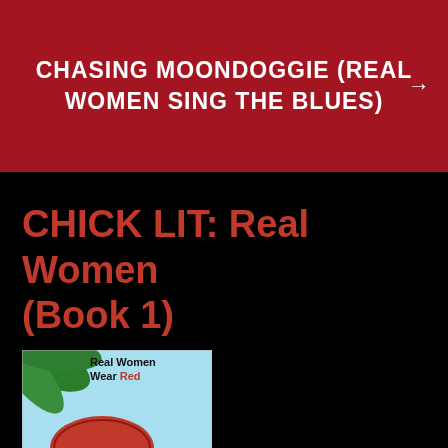CHASING MOONDOGGIE (REAL WOMEN SING THE BLUES) →
CHICK LIT: Real Women (Book 1)
[Figure (illustration): Book cover of 'Real Women Wear Red' by Kathy Holmes, showing a beach scene with a red umbrella, beach chairs, palm tree, blue sky, and water.]
“I may dye my hair blonde, I